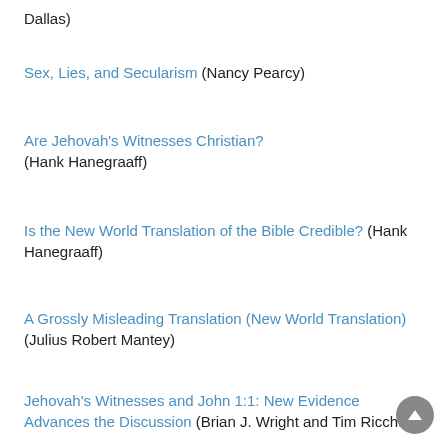Dallas)
Sex, Lies, and Secularism (Nancy Pearcy)
Are Jehovah's Witnesses Christian? (Hank Hanegraaff)
Is the New World Translation of the Bible Credible? (Hank Hanegraaff)
A Grossly Misleading Translation (New World Translation) (Julius Robert Mantey)
Jehovah's Witnesses and John 1:1: New Evidence Advances the Discussion (Brian J. Wright and Tim Ricchuiti)